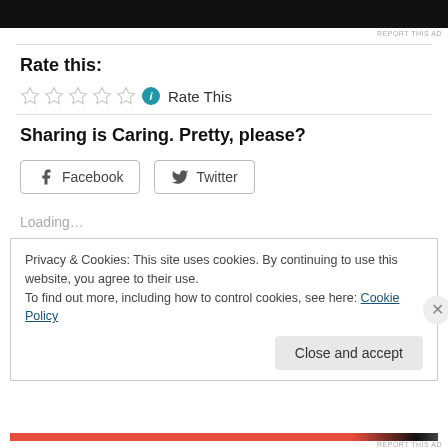[Figure (other): Black advertisement banner bar at top]
REPORT THIS AD
Rate this:
[Figure (other): Five empty star rating icons followed by info icon and 'Rate This' text]
Sharing is Caring. Pretty, please?
[Figure (other): Facebook and Twitter share buttons]
Loading...
Privacy & Cookies: This site uses cookies. By continuing to use this website, you agree to their use.
To find out more, including how to control cookies, see here: Cookie Policy
Close and accept